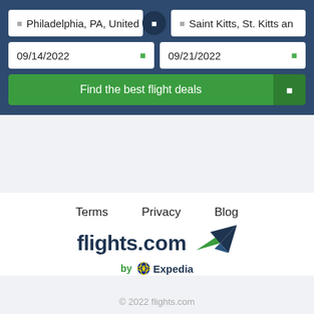[Figure (screenshot): Flight search widget with origin 'Philadelphia, PA, United' and destination 'Saint Kitts, St. Kitts an', departure date 09/14/2022, return date 09/21/2022, and a 'Find the best flight deals' button.]
Terms   Privacy   Blog
[Figure (logo): flights.com by Expedia logo with green and dark blue swoosh/arrow graphic]
© 2022 flights.com